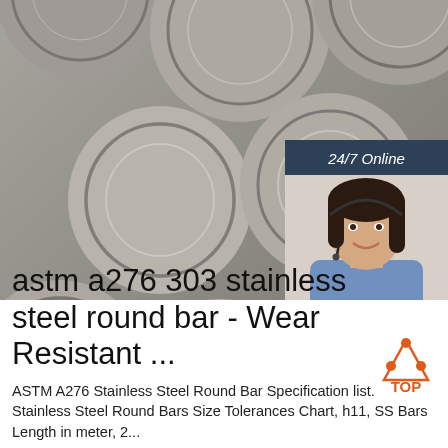[Figure (photo): Close-up photo of multiple stainless steel round bar pipes/tubes stacked together, showing circular cross-sections]
[Figure (photo): 24/7 Online customer service panel with a smiling woman wearing a headset, with 'Click here for free chat!' text and an orange QUOTATION button]
astm a276 303 stainless steel round bar - Wear Resistant ...
ASTM A276 Stainless Steel Round Bar Specification list. Stainless Steel Round Bars Size Tolerances Chart, h11, SS Bars Length in meter, 2...